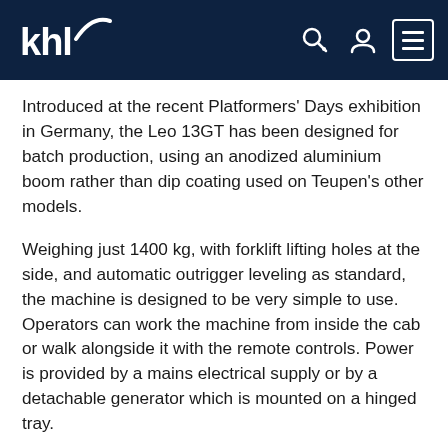khl [logo] [search icon] [user icon] [menu icon]
Introduced at the recent Platformers' Days exhibition in Germany, the Leo 13GT has been designed for batch production, using an anodized aluminium boom rather than dip coating used on Teupen's other models.
Weighing just 1400 kg, with forklift lifting holes at the side, and automatic outrigger leveling as standard, the machine is designed to be very simple to use. Operators can work the machine from inside the cab or walk alongside it with the remote controls. Power is provided by a mains electrical supply or by a detachable generator which is mounted on a hinged tray.
The one-person cage has a 200 kg capacity all the way out to the maximum 6.1 m outreach, and a particular feature of the boom design is the ability of the upper boom to be raised vertically before the lower section is